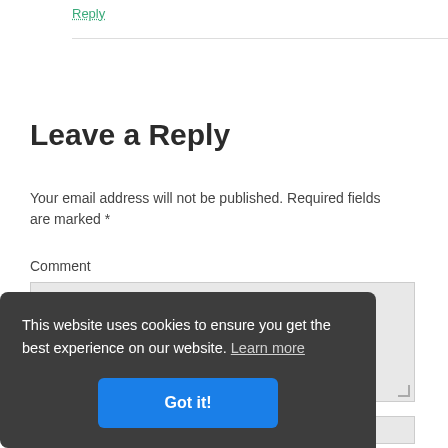Reply
Leave a Reply
Your email address will not be published. Required fields are marked *
Comment
This website uses cookies to ensure you get the best experience on our website. Learn more
Got it!